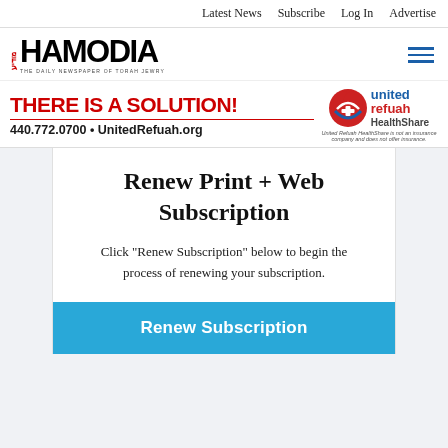Latest News  Subscribe  Log In  Advertise
[Figure (logo): Hamodia newspaper logo — Hebrew letters on left, 'HAMODIA' in bold black, subtitle 'THE DAILY NEWSPAPER OF TORAH JEWRY']
[Figure (infographic): Advertisement banner: 'THERE IS A SOLUTION!' in red bold text, horizontal red line, '440.772.0700 • UnitedRefuah.org' in black bold. Right side: United Refuah HealthShare logo with red and blue icon. Disclaimer: 'United Refuah HealthShare is not an insurance company and does not offer insurance.']
Renew Print + Web Subscription
Click "Renew Subscription" below to begin the process of renewing your subscription.
Renew Subscription